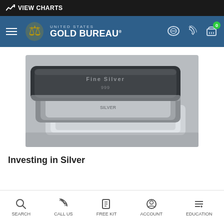VIEW CHARTS
[Figure (logo): United States Gold Bureau logo with eagle emblem on blue navigation bar]
[Figure (photo): Silver bullion bars stacked on a surface, close-up photograph]
Investing in Silver
SEARCH  CALL US  FREE KIT  ACCOUNT  EDUCATION